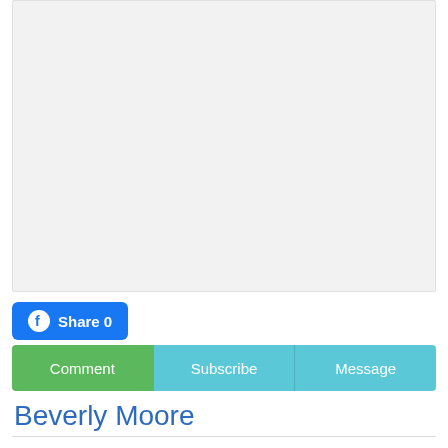[Figure (other): Large gray placeholder/image box]
Share 0
Comment | Subscribe | Message
Beverly Moore